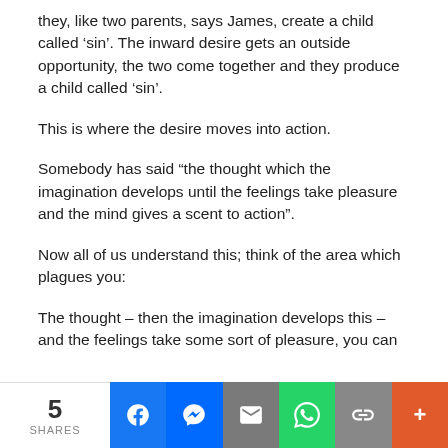they, like two parents, says James, create a child called ‘sin’. The inward desire gets an outside opportunity, the two come together and they produce a child called ‘sin’.
This is where the desire moves into action.
Somebody has said “the thought which the imagination develops until the feelings take pleasure and the mind gives a scent to action”.
Now all of us understand this; think of the area which plagues you:
The thought – then the imagination develops this – and the feelings take some sort of pleasure, you can
5 SHARES | Facebook | Messenger | Email | WhatsApp | Link | More